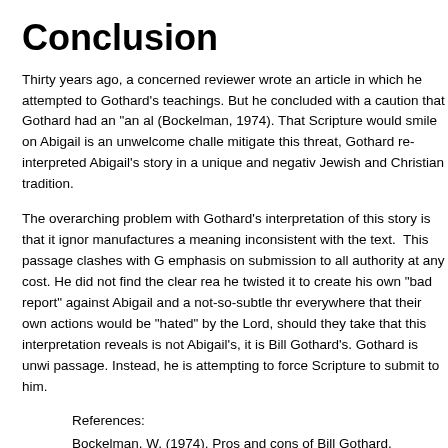Conclusion
Thirty years ago, a concerned reviewer wrote an article in which he attempted to Gothard's teachings. But he concluded with a caution that Gothard had an "an al (Bockelman, 1974). That Scripture would smile on Abigail is an unwelcome challe mitigate this threat, Gothard re-interpreted Abigail's story in a unique and negativ Jewish and Christian tradition.
The overarching problem with Gothard's interpretation of this story is that it ignor manufactures a meaning inconsistent with the text. This passage clashes with G emphasis on submission to all authority at any cost. He did not find the clear rea he twisted it to create his own "bad report" against Abigail and a not-so-subtle thr everywhere that their own actions would be "hated" by the Lord, should they take that this interpretation reveals is not Abigail's, it is Bill Gothard's. Gothard is unwi passage. Instead, he is attempting to force Scripture to submit to him.
References:
Bockelman, W. (1974). Pros and cons of Bill Gothard. Christian Century, 9 from EBSCOhost.

Institute in Basic Youth Conflicts. (1976). Character Sketches from the pag the world of nature. Oak Brook, Ill.: The Institute.